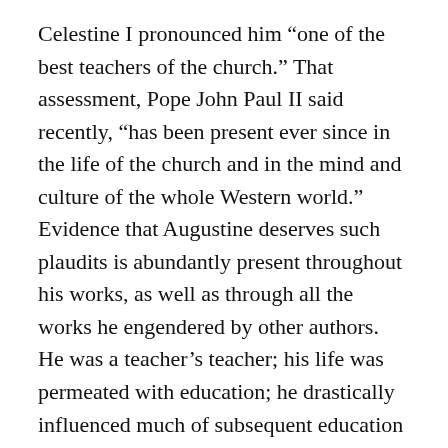Celestine I pronounced him “one of the best teachers of the church.” That assessment, Pope John Paul II said recently, “has been present ever since in the life of the church and in the mind and culture of the whole Western world.” Evidence that Augustine deserves such plaudits is abundantly present throughout his works, as well as through all the works he engendered by other authors. He was a teacher’s teacher; his life was permeated with education; he drastically influenced much of subsequent education structures.
His life-long vocation was that of a teacher. Before his conversion he was a professor of